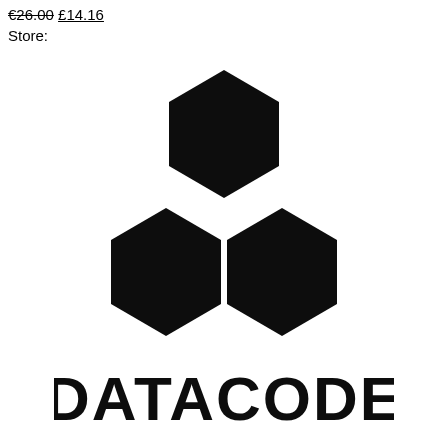€26.00 £14.16
Store:
[Figure (logo): DATACODE logo consisting of three black hexagons arranged in a triangular formation (one on top, two on the bottom row) above the bold text 'DATACODE']